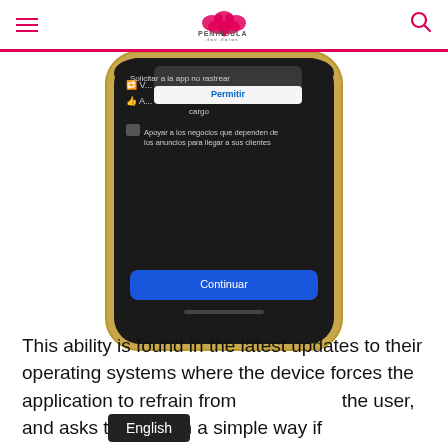Peninsula das datas
[Figure (screenshot): A smartphone screenshot showing an iOS-style app tracking permission dialog in dark mode. The dialog shows options: 'Solicitar a la app no rastrear' and 'Permitir' buttons, with text about 'Apoyar a los negocios que dependen de los anuncios para llegar a sus clientes' and a blue 'Continuar' button at the bottom.]
This ability is found in the latest updates to their operating systems where the device forces the application to refrain from tracking the user, and asks the user in a simple way if